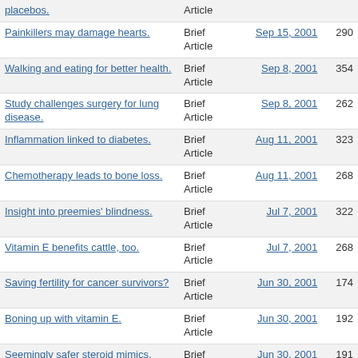| Title | Type | Date | Words |
| --- | --- | --- | --- |
| placebos. | Brief Article |  |  |
| Painkillers may damage hearts. | Brief Article | Sep 15, 2001 | 290 |
| Walking and eating for better health. | Brief Article | Sep 8, 2001 | 354 |
| Study challenges surgery for lung disease. | Brief Article | Sep 8, 2001 | 262 |
| Inflammation linked to diabetes. | Brief Article | Aug 11, 2001 | 323 |
| Chemotherapy leads to bone loss. | Brief Article | Aug 11, 2001 | 268 |
| Insight into preemies' blindness. | Brief Article | Jul 7, 2001 | 322 |
| Vitamin E benefits cattle, too. | Brief Article | Jul 7, 2001 | 268 |
| Saving fertility for cancer survivors? | Brief Article | Jun 30, 2001 | 174 |
| Boning up with vitamin E. | Brief Article | Jun 30, 2001 | 192 |
| Seemingly safer steroid mimics. | Brief Article | Jun 30, 2001 | 191 |
| New drug takes on intestinal | Brief Article | May 26, 2001 | 367 |